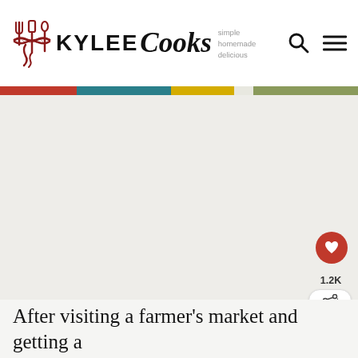KYLEE Cooks — simple homemade delicious
[Figure (photo): Large food photograph area — blank/light gray placeholder image occupying most of the page]
After visiting a farmer's market and getting a